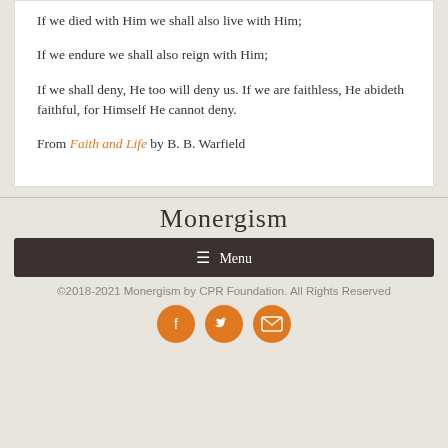If we died with Him we shall also live with Him;
If we endure we shall also reign with Him;
If we shall deny, He too will deny us. If we are faithless, He abideth faithful, for Himself He cannot deny.
From Faith and Life by B. B. Warfield
Monergism
☰ Menu
©2018-2021 Monergism by CPR Foundation. All Rights Reserved